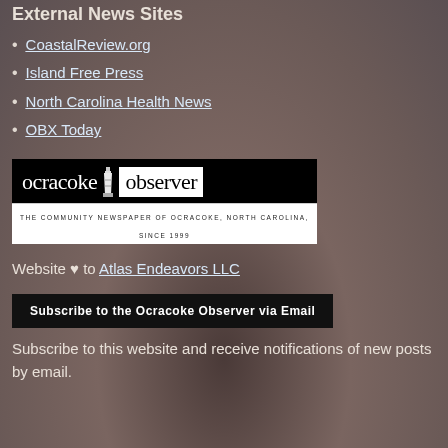External News Sites
CoastalReview.org
Island Free Press
North Carolina Health News
OBX Today
[Figure (logo): Ocracoke Observer newspaper logo — black background with white 'ocracoke' text, lighthouse graphic, white background with black 'observer' text, tagline: THE COMMUNITY NEWSPAPER OF OCRACOKE, NORTH CAROLINA, SINCE 1999]
Website ♥ to Atlas Endeavors LLC
[Figure (other): Black button reading 'Subscribe to the Ocracoke Observer via Email']
Subscribe to this website and receive notifications of new posts by email.